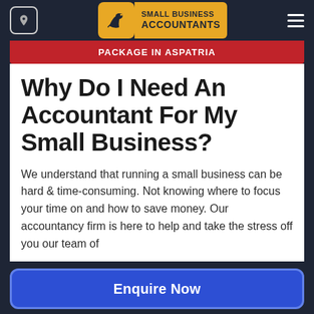[Figure (logo): Small Business Accountants logo with bird icon on orange background and text 'SMALL BUSINESS ACCOUNTANTS']
PACKAGE IN ASPATRIA
Why Do I Need An Accountant For My Small Business?
We understand that running a small business can be hard & time-consuming. Not knowing where to focus your time on and how to save money. Our accountancy firm is here to help and take the stress off you our team of
Enquire Now